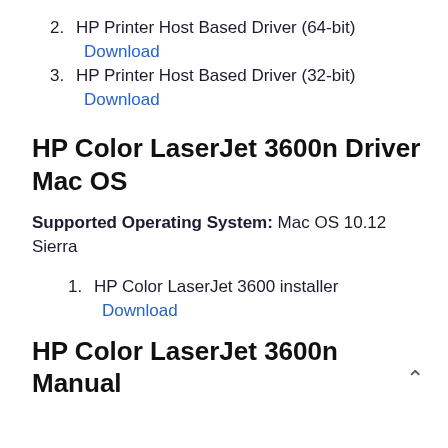2. HP Printer Host Based Driver (64-bit)
Download
3. HP Printer Host Based Driver (32-bit)
Download
HP Color LaserJet 3600n Driver Mac OS
Supported Operating System: Mac OS 10.12 Sierra
1. HP Color LaserJet 3600 installer
Download
HP Color LaserJet 3600n Manual